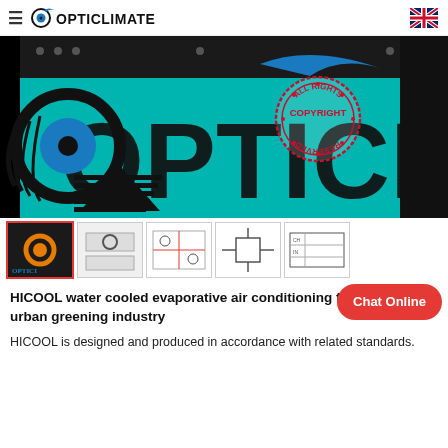≡  OPTICLIMATE  🇬🇧
[Figure (photo): OPTICLIMATE product branding image with teal background and large black OPTICI text, circular logo, and copyright watermark stamp overlay]
[Figure (photo): Thumbnail row: 5 product thumbnails including main product photo and diagrams]
HICOOL water cooled evaporative air conditioning from Ch. or urban greening industry
HICOOL is designed and produced in accordance with related standards.